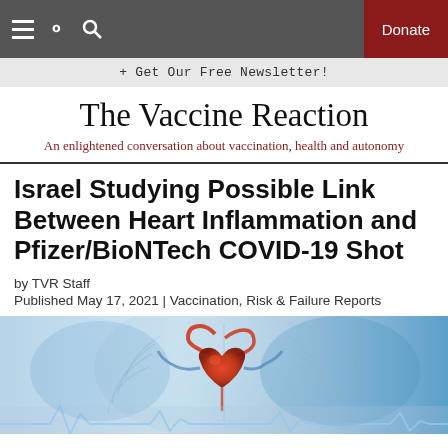The Vaccine Reaction — Navigation bar with hamburger menu, search icon, and Donate button
+ Get Our Free Newsletter!
The Vaccine Reaction
An enlightened conversation about vaccination, health and autonomy
Israel Studying Possible Link Between Heart Inflammation and Pfizer/BioNTech COVID-19 Shot
by TVR Staff
Published May 17, 2021 | Vaccination, Risk & Failure Reports
[Figure (photo): Medical illustration of a human heart with anatomical detail on a blue X-ray-style background with ECG line at bottom]